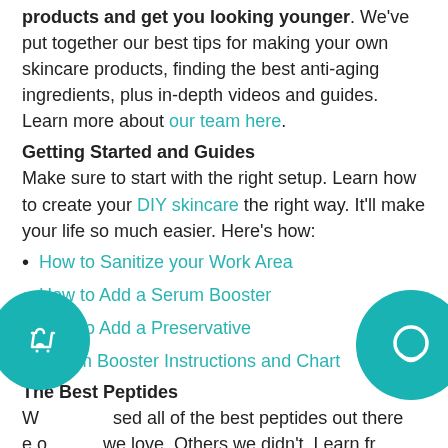products and get you looking younger. We've put together our best tips for making your own skincare products, finding the best anti-aging ingredients, plus in-depth videos and guides. Learn more about our team here.
Getting Started and Guides
Make sure to start with the right setup. Learn how to create your DIY skincare the right way. It'll make your life so much easier. Here's how:
How to Sanitize your Work Area
How to Add a Serum Booster
How to Add a Preservative
Serum Booster Instructions and Chart
The Best Peptides
We used all of the best peptides out there and ones we love. Others we didn't. Learn from our experience on which anti-aging peptides work.
Argireline